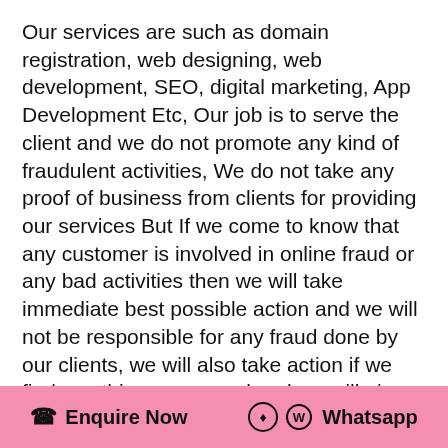Our services are such as domain registration, web designing, web development, SEO, digital marketing, App Development Etc, Our job is to serve the client and we do not promote any kind of fraudulent activities, We do not take any proof of business from clients for providing our services But If we come to know that any customer is involved in online fraud or any bad activities then we will take immediate best possible action and we will not be responsible for any fraud done by our clients, we will also take action if we find any thing wrong and and we will give full help to the cosigner.
ANTI-SPAM POLICY
✆ Enquire Now   Whatsapp